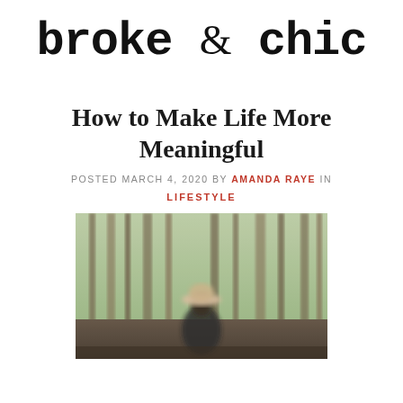broke & chic
How to Make Life More Meaningful
POSTED MARCH 4, 2020 BY AMANDA RAYE IN
LIFESTYLE
[Figure (photo): Person from behind wearing a wide-brim hat and dark clothing, standing in a forest of tall trees with green foliage]